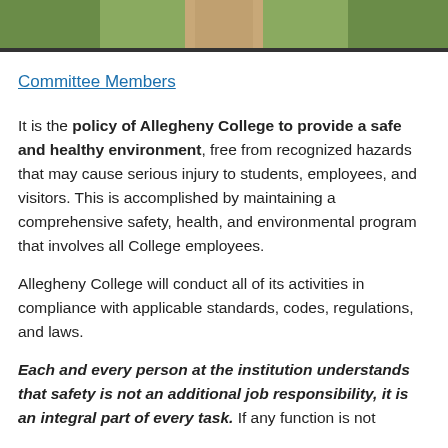[Figure (photo): Outdoor campus pathway lined with green grass and trees, viewed from above]
Committee Members
It is the policy of Allegheny College to provide a safe and healthy environment, free from recognized hazards that may cause serious injury to students, employees, and visitors. This is accomplished by maintaining a comprehensive safety, health, and environmental program that involves all College employees.
Allegheny College will conduct all of its activities in compliance with applicable standards, codes, regulations, and laws.
Each and every person at the institution understands that safety is not an additional job responsibility, it is an integral part of every task. If any function is not